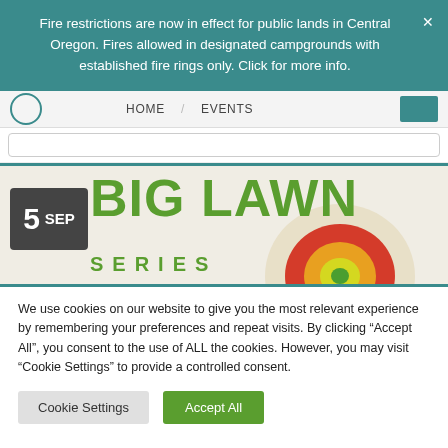Fire restrictions are now in effect for public lands in Central Oregon. Fires allowed in designated campgrounds with established fire rings only. Click for more info.
HOME / EVENTS
[Figure (screenshot): Big Lawn Series event banner with date badge showing 5 SEP, large green text reading BIG LAWN and SERIES on a light background with a colorful target/bullseye graphic]
We use cookies on our website to give you the most relevant experience by remembering your preferences and repeat visits. By clicking “Accept All”, you consent to the use of ALL the cookies. However, you may visit “Cookie Settings” to provide a controlled consent.
Cookie Settings
Accept All